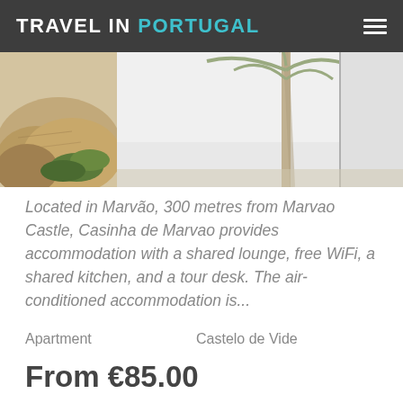TRAVEL IN PORTUGAL
[Figure (photo): Partial view of a stone/rock formation on the left and a palm tree or landscape on the right, both cropped at the top of the content area]
Located in Marvão, 300 metres from Marvao Castle, Casinha de Marvao provides accommodation with a shared lounge, free WiFi, a shared kitchen, and a tour desk. The air-conditioned accommodation is...
Apartment    Castelo de Vide
From €85.00